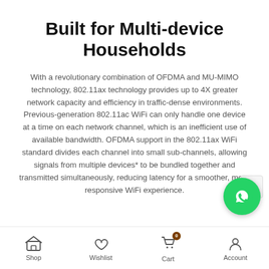Built for Multi-device Households
With a revolutionary combination of OFDMA and MU-MIMO technology, 802.11ax technology provides up to 4X greater network capacity and efficiency in traffic-dense environments. Previous-generation 802.11ac WiFi can only handle one device at a time on each network channel, which is an inefficient use of available bandwidth. OFDMA support in the 802.11ax WiFi standard divides each channel into small sub-channels, allowing signals from multiple devices* to be bundled together and transmitted simultaneously, reducing latency for a smoother, more responsive WiFi experience.
[Figure (other): WhatsApp floating action button (green circle with WhatsApp logo)]
Shop | Wishlist | Cart (0) | Account